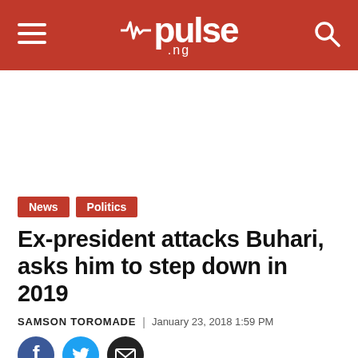pulse .ng
News  Politics
Ex-president attacks Buhari, asks him to step down in 2019
SAMSON TOROMADE | January 23, 2018 1:59 PM
[Figure (other): Social share icons: Facebook, Twitter, Email]
The ex-president said Buhari has divided the